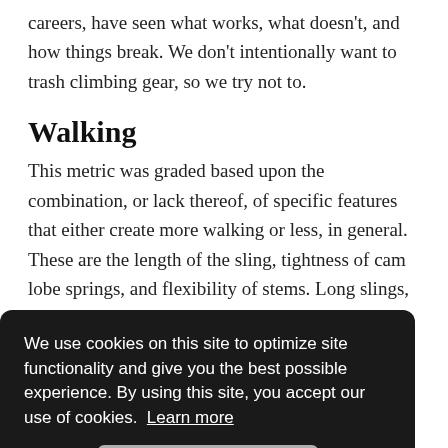careers, have seen what works, what doesn't, and how things break. We don't intentionally want to trash climbing gear, so we try not to.
Walking
This metric was graded based upon the combination, or lack thereof, of specific features that either create more walking or less, in general. These are the length of the sling, tightness of cam lobe springs, and flexibility of stems. Long slings, flexible stems, and tight springs generally lead to less walking. The rest is just how you placement is a skill [text partially obscured] flexible stems, and tight springs generally lead to less walking.
Cams: Aiding the endless cracks on Elbar Ecstasy in Zion mid winter.
We use cookies on this site to optimize site functionality and give you the best possible experience. By using this site, you accept our use of cookies. Learn more
Aid Climbing